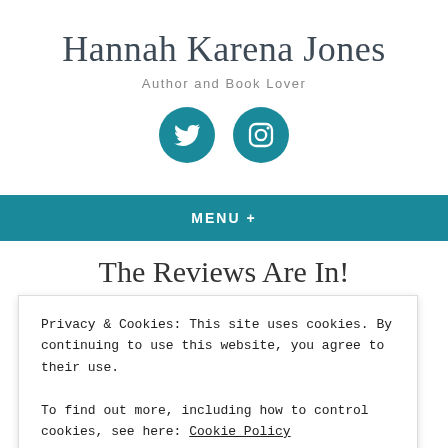Hannah Karena Jones
Author and Book Lover
[Figure (illustration): Two circular teal social media icons: Twitter bird icon and Instagram camera icon]
MENU +
The Reviews Are In!
Privacy & Cookies: This site uses cookies. By continuing to use this website, you agree to their use.
To find out more, including how to control cookies, see here: Cookie Policy
Close and accept